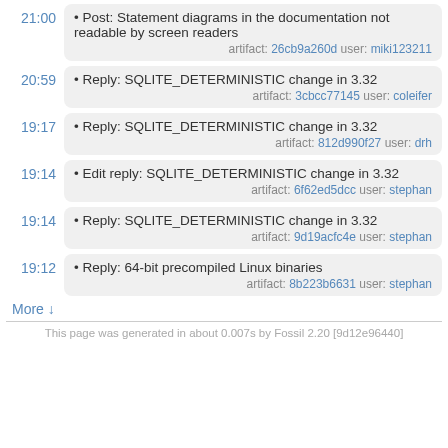21:00 • Post: Statement diagrams in the documentation not readable by screen readers artifact: 26cb9a260d user: miki123211
20:59 • Reply: SQLITE_DETERMINISTIC change in 3.32 artifact: 3cbcc77145 user: coleifer
19:17 • Reply: SQLITE_DETERMINISTIC change in 3.32 artifact: 812d990f27 user: drh
19:14 • Edit reply: SQLITE_DETERMINISTIC change in 3.32 artifact: 6f62ed5dcc user: stephan
19:14 • Reply: SQLITE_DETERMINISTIC change in 3.32 artifact: 9d19acfc4e user: stephan
19:12 • Reply: 64-bit precompiled Linux binaries artifact: 8b223b6631 user: stephan
More ↓
This page was generated in about 0.007s by Fossil 2.20 [9d12e96440]